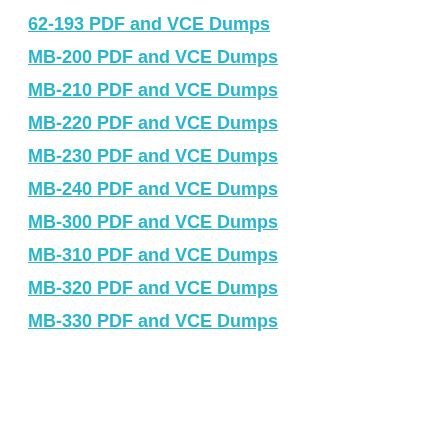62-193 PDF and VCE Dumps
MB-200 PDF and VCE Dumps
MB-210 PDF and VCE Dumps
MB-220 PDF and VCE Dumps
MB-230 PDF and VCE Dumps
MB-240 PDF and VCE Dumps
MB-300 PDF and VCE Dumps
MB-310 PDF and VCE Dumps
MB-320 PDF and VCE Dumps
MB-330 PDF and VCE Dumps